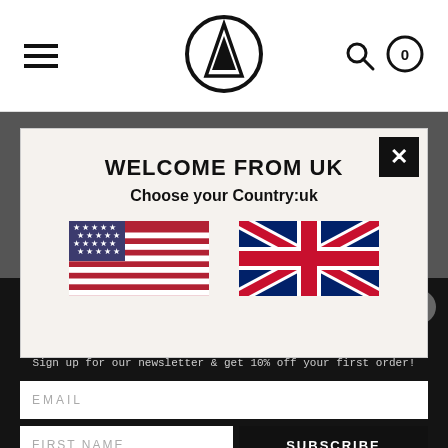Volcom navigation bar with hamburger menu, logo, search and cart icons
WELCOME FROM UK
Choose your Country:uk
[Figure (illustration): US flag and UK flag side by side for country selection]
JOIN US
10% off your first order
Sign up for our newsletter & get 10% off your first order!
EMAIL
FIRST NAME
SUBSCRIBE